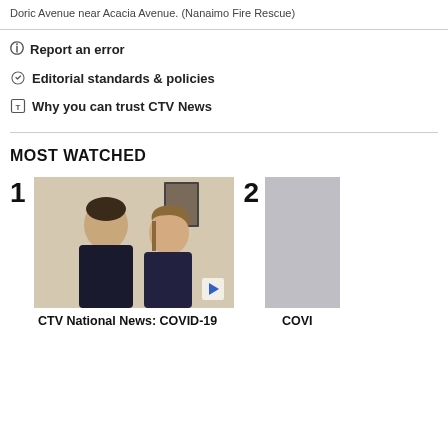Doric Avenue near Acacia Avenue. (Nanaimo Fire Rescue)
Report an error
Editorial standards & policies
Why you can trust CTV News
MOST WATCHED
[Figure (photo): Video thumbnail showing two women (adult and child) in dark clothing, with a play button overlay. Labeled as video item #1.]
CTV National News: COVID-19
[Figure (photo): Partially visible second video thumbnail, labeled as video item #2. Only a small portion is visible at right edge of page.]
COVI